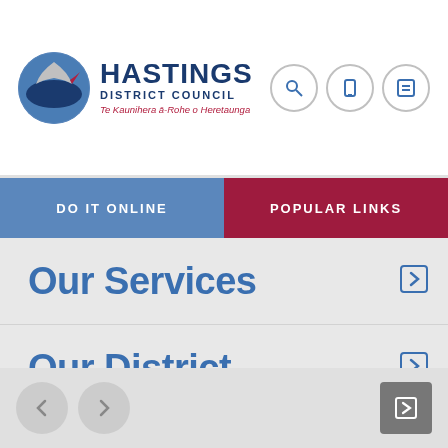[Figure (logo): Hastings District Council logo with circular emblem and text: HASTINGS DISTRICT COUNCIL, Te Kaunihera ā-Rohe o Heretaunga]
DO IT ONLINE
POPULAR LINKS
Our Services
Our District
Our Council